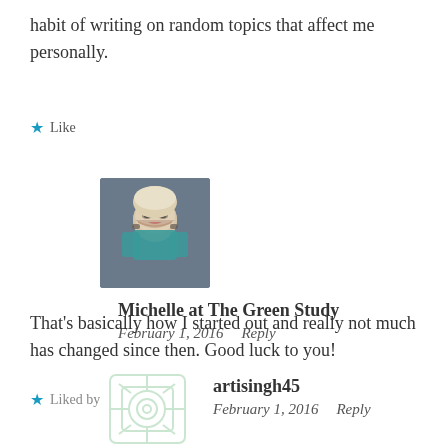habit of writing on random topics that affect me personally.
Like
Michelle at The Green Study
February 1, 2016   Reply
That's basically how I started out and really not much has changed since then. Good luck to you!
Liked by 1 person
artisingh45
February 1, 2016   Reply